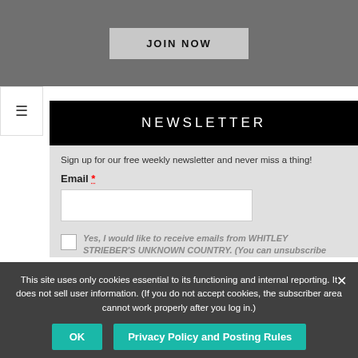[Figure (screenshot): JOIN NOW button on dark gray background]
NEWSLETTER
Sign up for our free weekly newsletter and never miss a thing!
Email *
Yes, I would like to receive emails from WHITLEY STRIEBER'S UNKNOWN COUNTRY. (You can unsubscribe
This site uses only cookies essential to its functioning and internal reporting. It does not sell user information. (If you do not accept cookies, the subscriber area cannot work properly after you log in.)